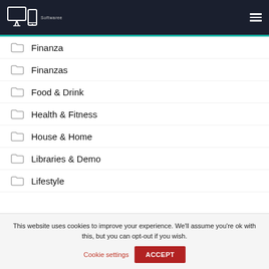Softwaree — navigation header with hamburger menu
Finanza
Finanzas
Food & Drink
Health & Fitness
House & Home
Libraries & Demo
Lifestyle
This website uses cookies to improve your experience. We'll assume you're ok with this, but you can opt-out if you wish.
Cookie settings   ACCEPT